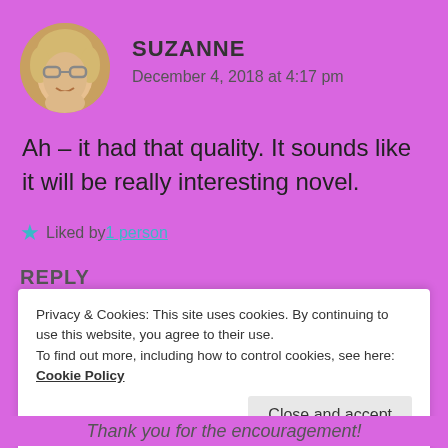[Figure (photo): Circular avatar photo of Suzanne, a woman with blonde hair and glasses, smiling]
SUZANNE
December 4, 2018 at 4:17 pm
Ah – it had that quality. It sounds like it will be really interesting novel.
★ Liked by 1 person
REPLY
Privacy & Cookies: This site uses cookies. By continuing to use this website, you agree to their use.
To find out more, including how to control cookies, see here: Cookie Policy
Close and accept
Thank you for the encouragement!